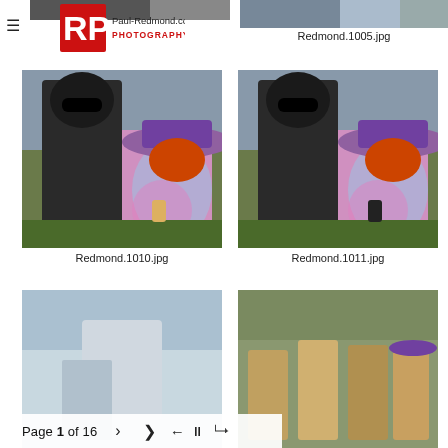[Figure (photo): Paul-Redmond.com Photography logo with menu hamburger icon and partial top-left photo]
[Figure (photo): Partial photo top right (Redmond.1005.jpg)]
Redmond.1005.jpg
[Figure (photo): Photo of two costumed people at outdoor event - Redmond.1010.jpg]
Redmond.1010.jpg
[Figure (photo): Photo of two costumed people at outdoor event - Redmond.1011.jpg]
Redmond.1011.jpg
[Figure (photo): Partial bottom-left photo (next row)]
[Figure (photo): Partial bottom-right photo of group of people]
Page 1 of 16  >  share